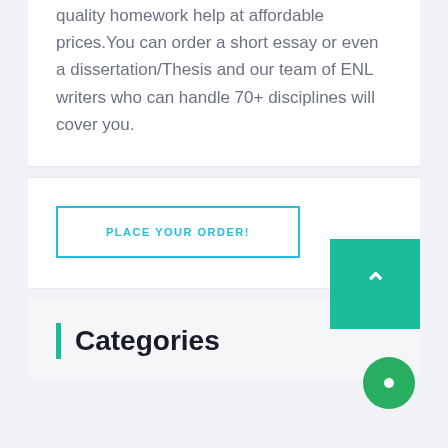quality homework help at affordable prices.You can order a short essay or even a dissertation/Thesis and our team of ENL writers who can handle 70+ disciplines will cover you.
PLACE YOUR ORDER!
Categories